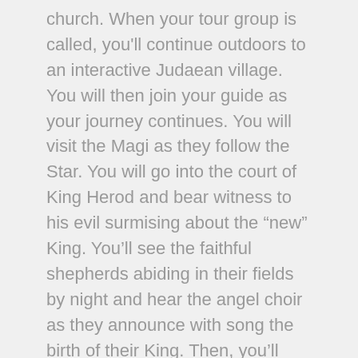church. When your tour group is called, you'll continue outdoors to an interactive Judaean village. You will then join your guide as your journey continues. You will visit the Magi as they follow the Star. You will go into the court of King Herod and bear witness to his evil surmising about the “new” King. You’ll see the faithful shepherds abiding in their fields by night and hear the angel choir as they announce with song the birth of their King. Then, you’ll visit the inn that had no room for Joseph and Mary. You’ll then continue to the stable and see the “babe wrapped in swaddling clothes.” And before your journey ends, you’ll also learn about Jesus’ life and ministry while He lived among us.